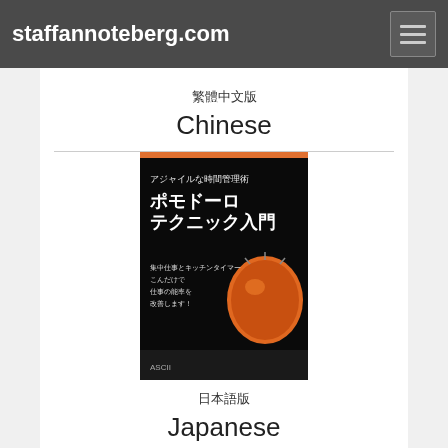staffannoteberg.com
繁體中文版
Chinese
[Figure (illustration): Japanese book cover - Pomodoro Technique in Japanese (ポモドーロテクニック入門), black background with orange tomato timer image, published by ASCII]
日本語版
Japanese
[Figure (illustration): Korean book cover - Pomodoro Technique, white background with red tomato illustration and Korean text, subtitle Pomodoro Technique]